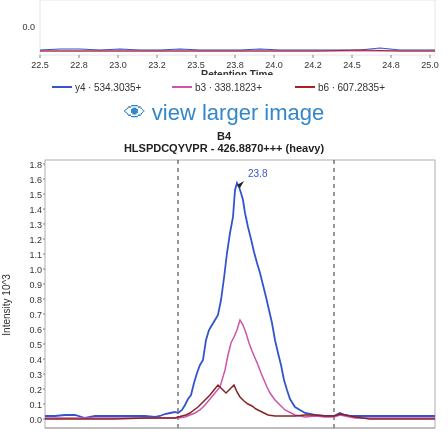[Figure (continuous-plot): Top partial chromatogram showing retention time x-axis (22.5 to 25.0) with three ion traces (y4 534.3035+, b3 338.1823+, b6 607.2835+) near baseline intensity 0.0]
y4 · 534.3035+   b3 · 338.1823+   b6 · 607.2835+
👁 view larger image
B4
HLSPDCQYVPR - 426.8870+++ (heavy)
[Figure (continuous-plot): Chromatogram for B4 HLSPDCQYVPR - 426.8870+++ (heavy) showing three ion traces over retention time. Y-axis: Intensity 10^3 from 0.0 to 1.8. Blue trace (y4) peaks at ~1.65 at retention time 23.8. Purple trace (b3) peaks at ~0.68. Dark red trace (b6) peaks at ~0.25. Two vertical dashed lines mark integration boundaries.]